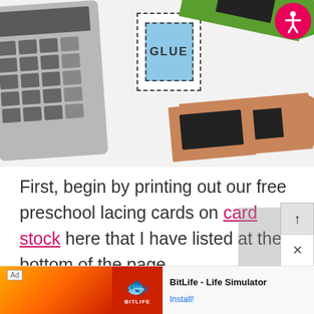[Figure (photo): Photo of preschool lacing card school supplies: a calculator on the left, a blue glue card in the center, and green and brown crayon lacing cards on the right. An accessibility icon button is in the top-right corner.]
First, begin by printing out our free preschool lacing cards on card stock here that I have listed at the bottom of the page.
[Figure (screenshot): Ad banner at the bottom showing BitLife - Life Simulator with Install button]